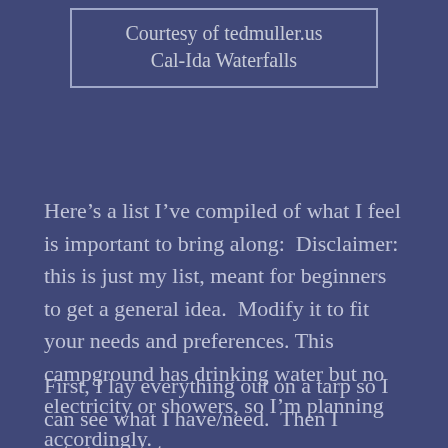Courtesy of tedmuller.us
Cal-Ida Waterfalls
Here’s a list I’ve compiled of what I feel is important to bring along:  Disclaimer:  this is just my list, meant for beginners to get a general idea.  Modify it to fit your needs and preferences. This campground has drinking water but no electricity or showers, so I’m planning accordingly.
First, I lay everything out on a tarp so I can see what I have/need.  Then I categorize into